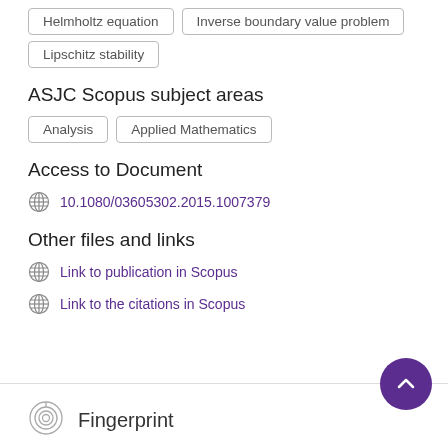Helmholtz equation
Inverse boundary value problem
Lipschitz stability
ASJC Scopus subject areas
Analysis
Applied Mathematics
Access to Document
10.1080/03605302.2015.1007379
Other files and links
Link to publication in Scopus
Link to the citations in Scopus
Fingerprint